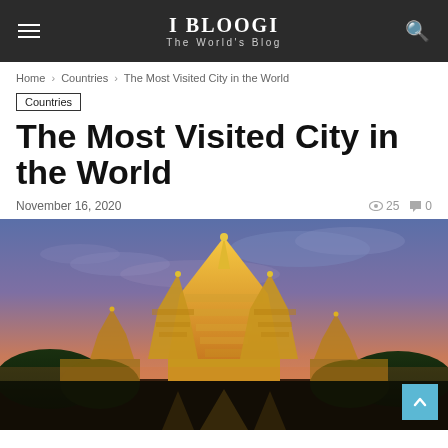I BLOOGI — The World's Blog
Home › Countries › The Most Visited City in the World
Countries
The Most Visited City in the World
November 16, 2020   👁 25   💬 0
[Figure (photo): Wat Arun temple in Bangkok illuminated at sunset with a colorful purple and orange sky in the background]